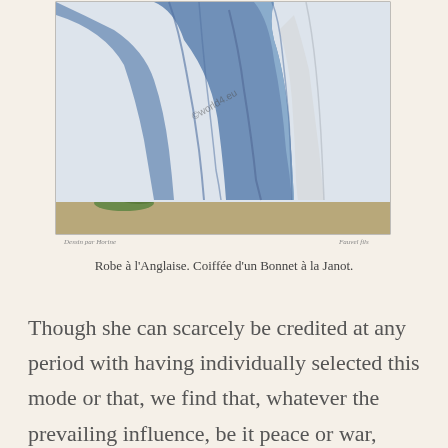[Figure (illustration): A partial illustration of a woman in a blue English-style robe (Robe à l'Anglaise) with white underdress, shown from approximately waist down, with a light outdoor background. Watermark 'world4.eu' visible. Small text below image reads 'Dessin par Horine' on left and 'Fauvel fils' on right.]
Robe à l'Anglaise. Coiffée d'un Bonnet à la Janot.
Though she can scarcely be credited at any period with having individually selected this mode or that, we find that, whatever the prevailing influence, be it peace or war, austerity or dissipation, it has been